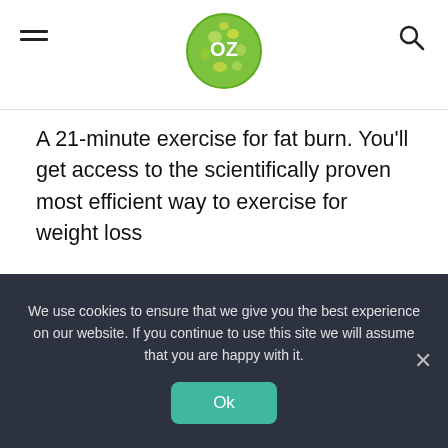OZ logo header with hamburger menu and search icon
A 21-minute exercise for fat burn. You'll get access to the scientifically proven most efficient way to exercise for weight loss
How to maintain a flat, strong belly that puts the “gym bunnies” to shame without ever feeling like you’re “working out” at all… strategically created to reset your hormones to reduce hunger and eliminate
We use cookies to ensure that we give you the best experience on our website. If you continue to use this site we will assume that you are happy with it.